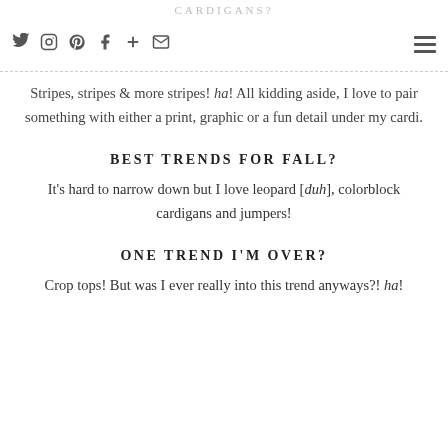CARDIGANS?
Stripes, stripes & more stripes! ha! All kidding aside, I love to pair something with either a print, graphic or a fun detail under my cardi.
BEST TRENDS FOR FALL?
It's hard to narrow down but I love leopard [duh], colorblock cardigans and jumpers!
ONE TREND I'M OVER?
Crop tops! But was I ever really into this trend anyways?! ha!